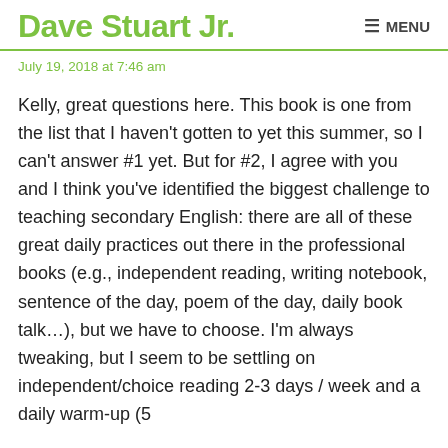Dave Stuart Jr. MENU
July 19, 2018 at 7:46 am
Kelly, great questions here. This book is one from the list that I haven't gotten to yet this summer, so I can't answer #1 yet. But for #2, I agree with you and I think you've identified the biggest challenge to teaching secondary English: there are all of these great daily practices out there in the professional books (e.g., independent reading, writing notebook, sentence of the day, poem of the day, daily book talk…), but we have to choose. I'm always tweaking, but I seem to be settling on independent/choice reading 2-3 days / week and a daily warm-up (5